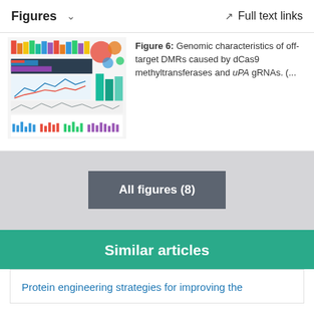Figures   ∨   Full text links
[Figure (infographic): Thumbnail of Figure 6 showing genomic characteristics panels including bar charts, scatter plots, and other visualizations]
Figure 6: Genomic characteristics of off-target DMRs caused by dCas9 methyltransferases and uPA gRNAs. (...
All figures (8)
Similar articles
Protein engineering strategies for improving the